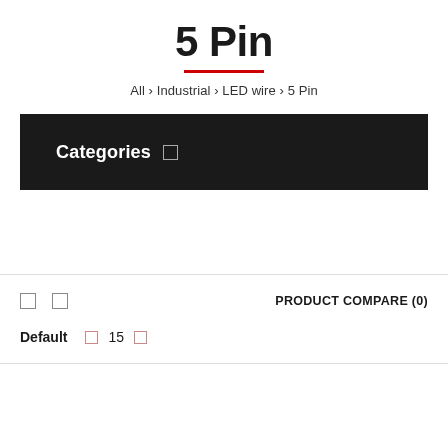5 Pin
All › Industrial › LED wire › 5 Pin
Categories
PRODUCT COMPARE (0)
Default   15